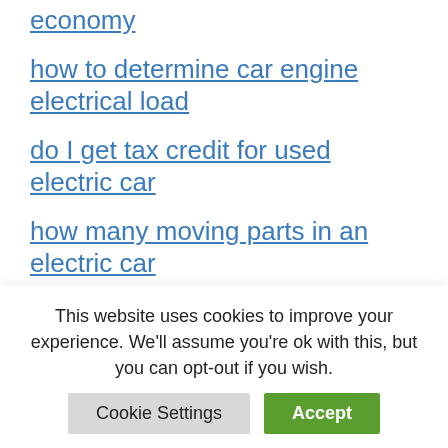economy
how to determine car engine electrical load
do I get tax credit for used electric car
how many moving parts in an electric car
is the federal electric car tax credit really cash in your pocket?
what time should i charge my electric car every night
This website uses cookies to improve your experience. We'll assume you're ok with this, but you can opt-out if you wish.
Cookie Settings | Accept